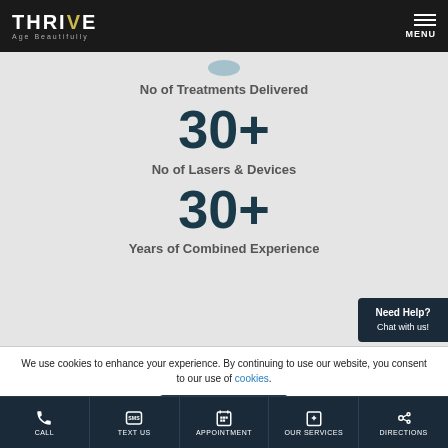[Figure (logo): THRIVE Age Beautifully logo on dark background]
No of Treatments Delivered
30+
No of Lasers & Devices
30+
Years of Combined Experience
Need Help? Chat with us!
We use cookies to enhance your experience. By continuing to use our website, you consent to our use of cookies.
Got It
CALL  TEXT US  APPOINTMENT  OUR SERVICES  DIRECTIONS